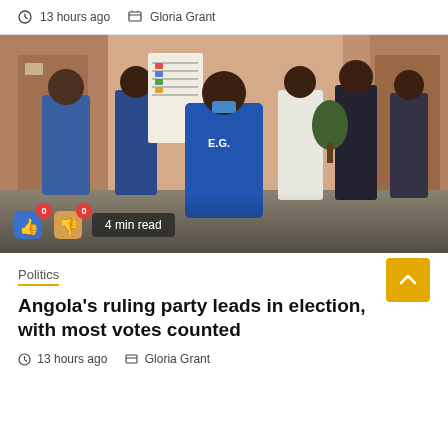13 hours ago  Gloria Grant
[Figure (photo): Election observers in blue vests holding up ballot papers at a polling station, with people in background wearing masks]
4 min read
Politics
Angola's ruling party leads in election, with most votes counted
13 hours ago  Gloria Grant